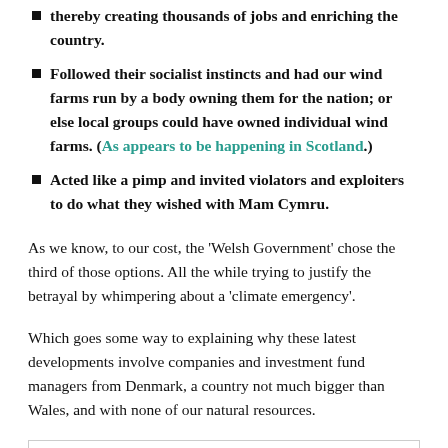thereby creating thousands of jobs and enriching the country.
Followed their socialist instincts and had our wind farms run by a body owning them for the nation; or else local groups could have owned individual wind farms. (As appears to be happening in Scotland.)
Acted like a pimp and invited violators and exploiters to do what they wished with Mam Cymru.
As we know, to our cost, the ‘Welsh Government’ chose the third of those options. All the while trying to justify the betrayal by whimpering about a ‘climate emergency’.
Which goes some way to explaining why these latest developments involve companies and investment fund managers from Denmark, a country not much bigger than Wales, and with none of our natural resources.